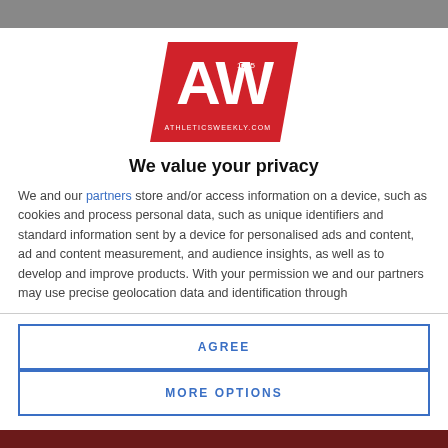[Figure (logo): Athletics Weekly AW logo — red trapezoid shape with white AW text, EST. 1945, ATHLETICSWEEKLY.COM]
We value your privacy
We and our partners store and/or access information on a device, such as cookies and process personal data, such as unique identifiers and standard information sent by a device for personalised ads and content, ad and content measurement, and audience insights, as well as to develop and improve products. With your permission we and our partners may use precise geolocation data and identification through
AGREE
MORE OPTIONS